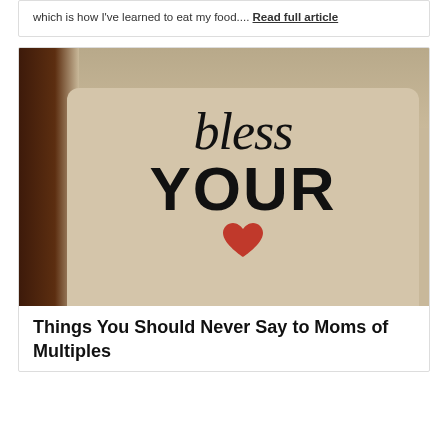which is how I've learned to eat my food.... Read full article
[Figure (photo): Photo of a decorative tile/sign with cursive 'bless' and bold 'YOUR' text and a red heart, placed on a wooden surface with a tan/cream wall background.]
Things You Should Never Say to Moms of Multiples